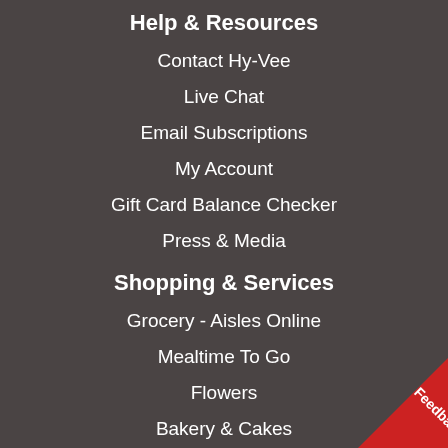Help & Resources
Contact Hy-Vee
Live Chat
Email Subscriptions
My Account
Gift Card Balance Checker
Press & Media
Shopping & Services
Grocery - Aisles Online
Mealtime To Go
Flowers
Bakery & Cakes